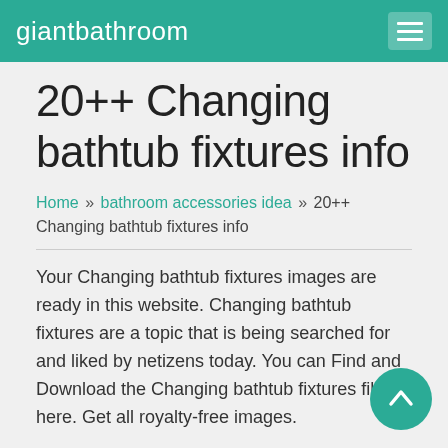giantbathroom
20++ Changing bathtub fixtures info
Home » bathroom accessories idea » 20++ Changing bathtub fixtures info
Your Changing bathtub fixtures images are ready in this website. Changing bathtub fixtures are a topic that is being searched for and liked by netizens today. You can Find and Download the Changing bathtub fixtures files here. Get all royalty-free images.
If you're looking for changing bathtub fixtures images information related to the changing bathtub fixture interest, you have pay a visit to the ideal site. Our website always provides you with suggestions for downloading the